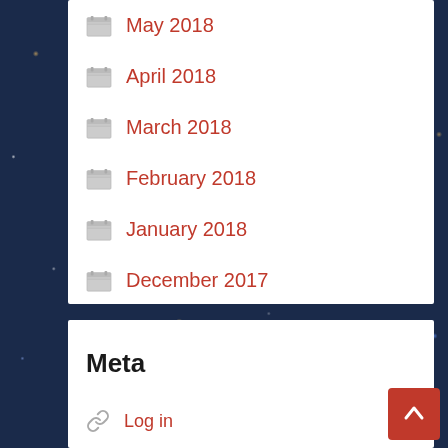May 2018
April 2018
March 2018
February 2018
January 2018
December 2017
Meta
Log in
Entries feed
Comments feed